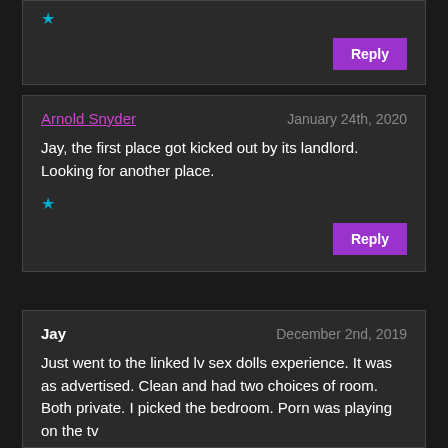[Figure (screenshot): Partial top comment block showing a star icon and Reply button on dark background]
Arnold Snyder
January 24th, 2020
Jay, the first place got kicked out by its landlord. Looking for another place.
Reply
Jay
December 2nd, 2019
Just went to the linked lv sex dolls experience. It was as advertised. Clean and had two choices of room. Both private. I picked the bedroom. Porn was playing on the tv